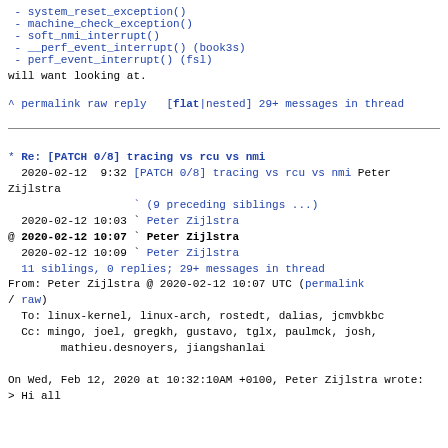- system_reset_exception()
- machine_check_exception()
- soft_nmi_interrupt()
- __perf_event_interrupt() (book3s)
- perf_event_interrupt() (fsl)
will want looking at.
^ permalink raw reply   [flat|nested] 29+ messages in thread
* Re: [PATCH 0/8] tracing vs rcu vs nmi
  2020-02-12  9:32 [PATCH 0/8] tracing vs rcu vs nmi Peter Zijlstra
                   ` (9 preceding siblings ...)
  2020-02-12 10:03 ` Peter Zijlstra
@ 2020-02-12 10:07 ` Peter Zijlstra
  2020-02-12 10:09 ` Peter Zijlstra
  11 siblings, 0 replies; 29+ messages in thread
From: Peter Zijlstra @ 2020-02-12 10:07 UTC (permalink / raw)
  To: linux-kernel, linux-arch, rostedt, dalias, jcmvbkbc
  Cc: mingo, joel, gregkh, gustavo, tglx, paulmck, josh,
        mathieu.desnoyers, jiangshanlai

On Wed, Feb 12, 2020 at 10:32:10AM +0100, Peter Zijlstra wrote:
> Hi all